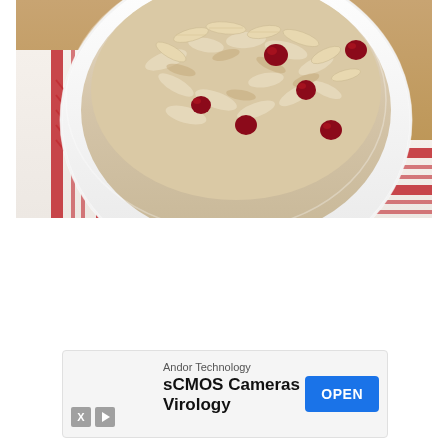[Figure (photo): Close-up photo of a white ceramic bowl filled with overnight oats or no-cook oatmeal, containing cranberries and sliced almonds, placed on a red and white striped kitchen towel on a wooden surface.]
Andor Technology
sCMOS Cameras for Virology
OPEN